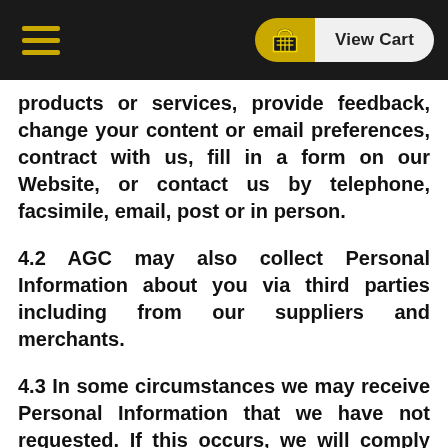Navigation bar with hamburger menu and View Cart button
products or services, provide feedback, change your content or email preferences, contract with us, fill in a form on our Website, or contact us by telephone, facsimile, email, post or in person.
4.2 AGC may also collect Personal Information about you via third parties including from our suppliers and merchants.
4.3 In some circumstances we may receive Personal Information that we have not requested. If this occurs, we will comply with our obligations under the Privacy Act. You acknowledge that we may de-identify and/or destroy this information unless we are required to keep it by law.
5. Information collected via our Website